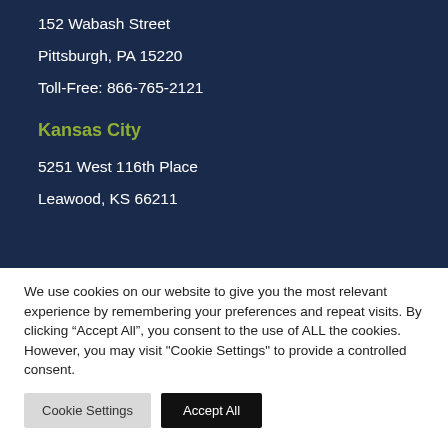152 Wabash Street
Pittsburgh, PA 15220
Toll-Free: 866-765-2121
Kansas City
5251 West 116th Place
Leawood, KS 66211
We use cookies on our website to give you the most relevant experience by remembering your preferences and repeat visits. By clicking “Accept All”, you consent to the use of ALL the cookies. However, you may visit "Cookie Settings" to provide a controlled consent.
Cookie Settings
Accept All